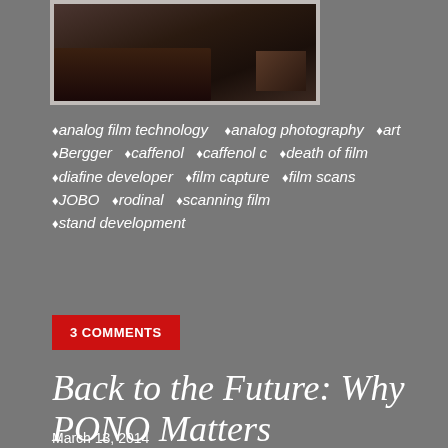[Figure (photo): Partial view of a film photograph held by a hand, dark tones]
♦analog film technology  ♦analog photography  ♦art  ♦Bergger  ♦caffenol  ♦caffenol c  ♦death of film  ♦diafine developer  ♦film capture  ♦film scans  ♦JOBO  ♦rodinal  ♦scanning film  ♦stand development
3 COMMENTS
Back to the Future: Why PONO Matters
March 13, 2014